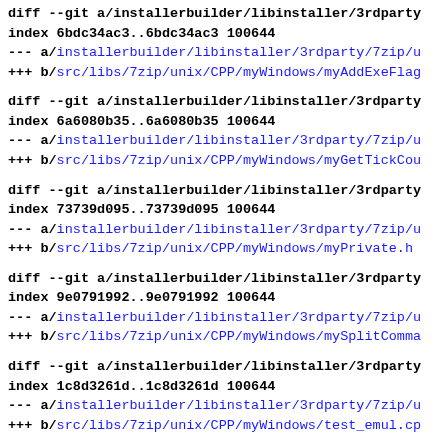diff --git a/installerbuilder/libinstaller/3rdparty
index 6bdc34ac3..6bdc34ac3 100644
--- a/installerbuilder/libinstaller/3rdparty/7zip/u
+++ b/src/libs/7zip/unix/CPP/myWindows/myAddExeFlag
diff --git a/installerbuilder/libinstaller/3rdparty
index 6a6080b35..6a6080b35 100644
--- a/installerbuilder/libinstaller/3rdparty/7zip/u
+++ b/src/libs/7zip/unix/CPP/myWindows/myGetTickCou
diff --git a/installerbuilder/libinstaller/3rdparty
index 73739d095..73739d095 100644
--- a/installerbuilder/libinstaller/3rdparty/7zip/u
+++ b/src/libs/7zip/unix/CPP/myWindows/myPrivate.h
diff --git a/installerbuilder/libinstaller/3rdparty
index 9e0791992..9e0791992 100644
--- a/installerbuilder/libinstaller/3rdparty/7zip/u
+++ b/src/libs/7zip/unix/CPP/myWindows/mySplitComma
diff --git a/installerbuilder/libinstaller/3rdparty
index 1c8d3261d..1c8d3261d 100644
--- a/installerbuilder/libinstaller/3rdparty/7zip/u
+++ b/src/libs/7zip/unix/CPP/myWindows/test_emul.cp
diff --git a/installerbuilder/libinstaller/3rdparty
index 918c4372c..918c4372c 100644
--- a/installerbuilder/libinstaller/3rdparty/7zip/u
+++ b/src/libs/7zip/unix/CPP/myWindows/wine_GetXXXD
diff --git a/installerbuilder/libinstaller/3rdparty